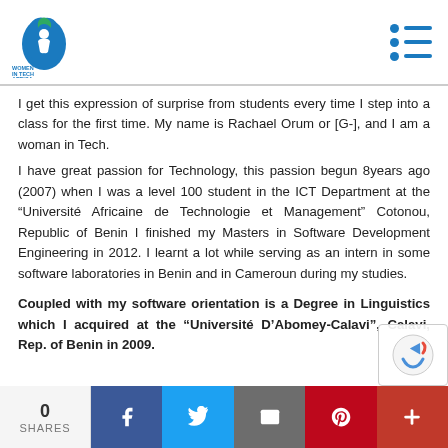Women In Tech Africa logo and navigation
I get this expression of surprise from students every time I step into a class for the first time. My name is Rachael Orum or [G-], and I am a woman in Tech.
I have great passion for Technology, this passion begun 8years ago (2007) when I was a level 100 student in the ICT Department at the "Université Africaine de Technologie et Management" Cotonou, Republic of Benin I finished my Masters in Software Development Engineering in 2012. I learnt a lot while serving as an intern in some software laboratories in Benin and in Cameroun during my studies.
Coupled with my software orientation is a Degree in Linguistics which I acquired at the "Université D'Abomey-Calavi", Calavi, Rep. of Benin in 2009.
0 SHARES | Facebook | Twitter | Email | Pinterest | Plus